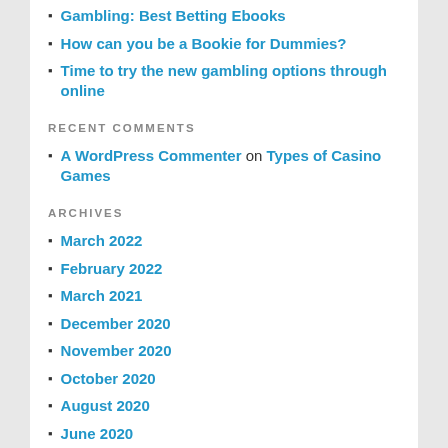Gambling: Best Betting Ebooks
How can you be a Bookie for Dummies?
Time to try the new gambling options through online
RECENT COMMENTS
A WordPress Commenter on Types of Casino Games
ARCHIVES
March 2022
February 2022
March 2021
December 2020
November 2020
October 2020
August 2020
June 2020
May 2020
April 2020
February 2020
January 2020
December 2019